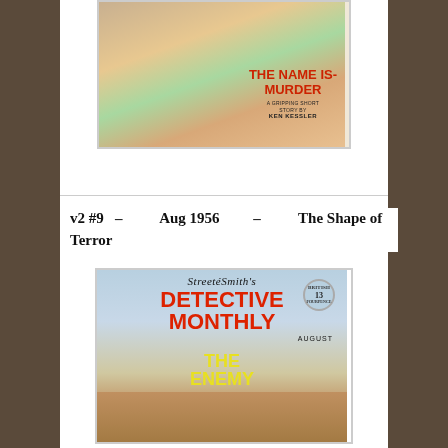[Figure (illustration): Magazine cover image: 'The Name Is-Murder, A Gripping Short Story by Ken Kessler' — pulp fiction magazine cover with a woman and dramatic imagery in green and tan tones]
v2 #9  –  Aug 1956  –  The Shape of Terror
[Figure (illustration): Street & Smith's Detective Monthly magazine cover, August issue, showing 'The Enemy' with a hand holding a gun, red bold lettering on blue background]